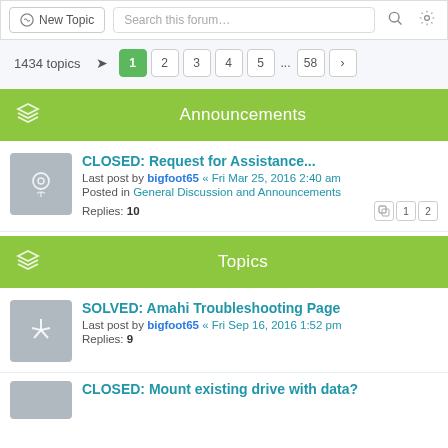New Topic | Search this forum...
1434 topics  1 2 3 4 5 ... 58 >
Announcements
CLOSED: Request for Assistance...
Last post by bigfoot65 « Fri Mar 25, 2016 2:40 am
Posted in General Discussion and Announcements
Replies: 10
Topics
SOLVED: Amahi Troubleshooting Page
Last post by bigfoot65 « Fri Sep 16, 2016 1:52 pm
Replies: 9
CLOSED: Mount existing drive with data?